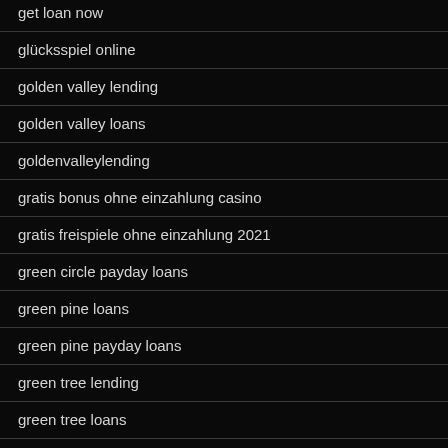get loan now
glücksspiel online
golden valley lending
golden valley loans
goldenvalleylending
gratis bonus ohne einzahlung casino
gratis freispiele ohne einzahlung 2021
green circle payday loans
green pine loans
green pine payday loans
green tree lending
green tree loans
green tree login